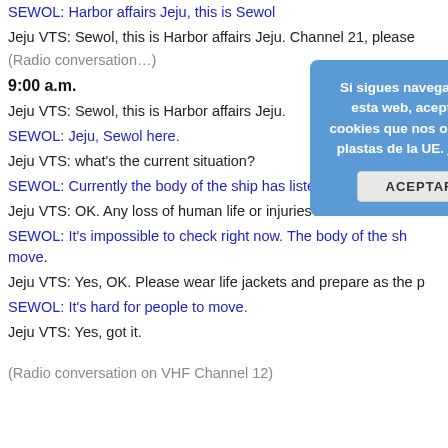SEWOL: Harbor affairs Jeju, this is Sewol
Jeju VTS: Sewol, this is Harbor affairs Jeju. Channel 21, please
(Radio conversation…)
9:00 a.m.
Jeju VTS: Sewol, this is Harbor affairs Jeju.
SEWOL: Jeju, Sewol here.
Jeju VTS: what's the current situation?
SEWOL: Currently the body of the ship has listed to the left. Th
Jeju VTS: OK. Any loss of human life or injuries?
SEWOL: It's impossible to check right now. The body of the sh move.
Jeju VTS: Yes, OK. Please wear life jackets and prepare as the p
SEWOL: It's hard for people to move.
Jeju VTS: Yes, got it.
(Radio conversation on VHF Channel 12)